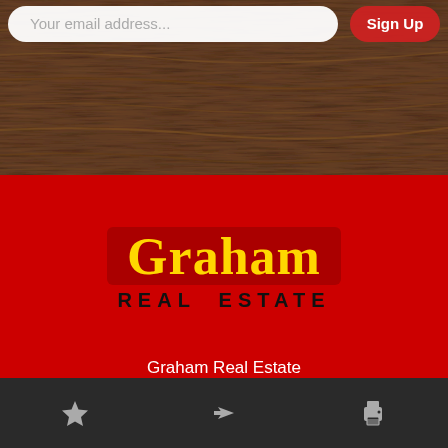[Figure (screenshot): Email input bar with placeholder text 'Your email address...' and a red 'Sign Up' button on a wood-textured background]
[Figure (logo): Graham Real Estate logo: 'Graham' in large yellow bold serif font on a dark red background, 'REAL ESTATE' in black bold caps below]
Graham Real Estate
198 E. Main St
Ask about this Property
[Figure (screenshot): Dark bottom navigation bar with star (favorite), arrow (share), and printer (print) icons]